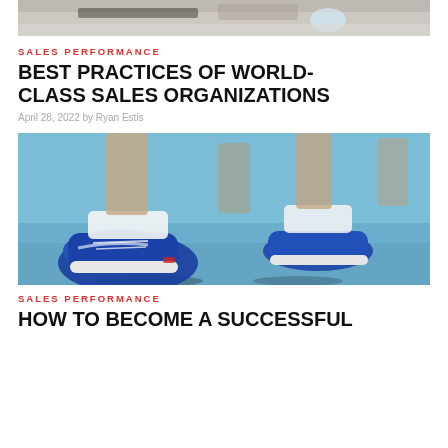[Figure (photo): Top portion of a photo showing people at a meeting table with laptop and glass of water, cropped at top]
SALES PERFORMANCE
BEST PRACTICES OF WORLD-CLASS SALES ORGANIZATIONS
April 28, 2022 by Ryan Estis
[Figure (photo): Close-up photo of people in blue sneakers crouching at a starting line on a teal/blue surface]
SALES PERFORMANCE
HOW TO BECOME A SUCCESSFUL